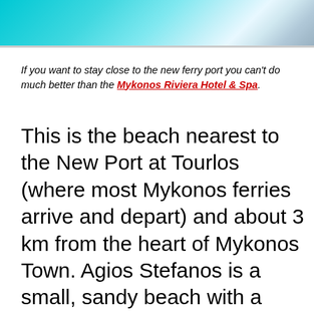[Figure (photo): Partial view of a swimming pool or waterfront area with turquoise/cyan water, cropped at the top of the page]
If you want to stay close to the new ferry port you can't do much better than the Mykonos Riviera Hotel & Spa.
This is the beach nearest to the New Port at Tourlos (where most Mykonos ferries arrive and depart) and about 3 km from the heart of Mykonos Town. Agios Stefanos is a small, sandy beach with a handful of restaurants and beach clubs, including the amazing Limnios Tavern on the hill overlooking the beach with gorgeous sunset views and flavorful Greek comfort foods. This is not the most beautiful beach in Mykonos, but it is great for swimming and protected from the